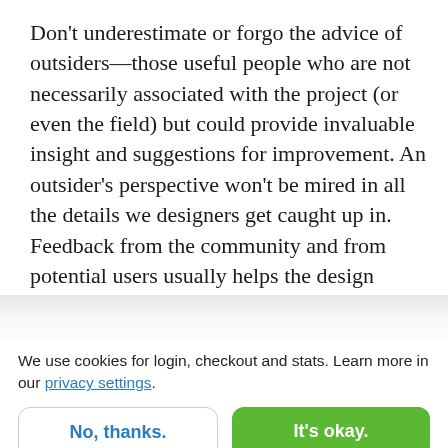Don't underestimate or forgo the advice of outsiders—those useful people who are not necessarily associated with the project (or even the field) but could provide invaluable insight and suggestions for improvement. An outsider's perspective won't be mired in all the details we designers get caught up in. Feedback from the community and from potential users usually helps the design process, so don't skip it.
We use cookies for login, checkout and stats. Learn more in our privacy settings.
No, thanks.
It's okay.